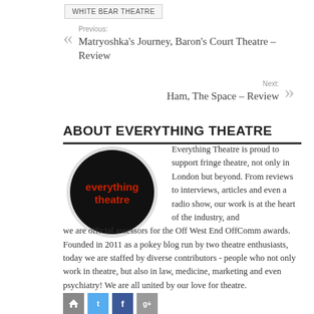WHITE BEAR THEATRE
Previous: Matryoshka's Journey, Baron's Court Theatre – Review
Next: Ham, The Space – Review
ABOUT EVERYTHING THEATRE
[Figure (logo): Everything Theatre circular logo — black background with red text reading 'everything theatre']
Everything Theatre is proud to support fringe theatre, not only in London but beyond. From reviews to interviews, articles and even a radio show, our work is at the heart of the industry, and we are official assessors for the Off West End OffComm awards. Founded in 2011 as a pokey blog run by two theatre enthusiasts, today we are staffed by diverse contributors - people who not only work in theatre, but also in law, medicine, marketing and even psychiatry! We are all united by our love for theatre.
Social icons: home, Twitter, Facebook, Google+